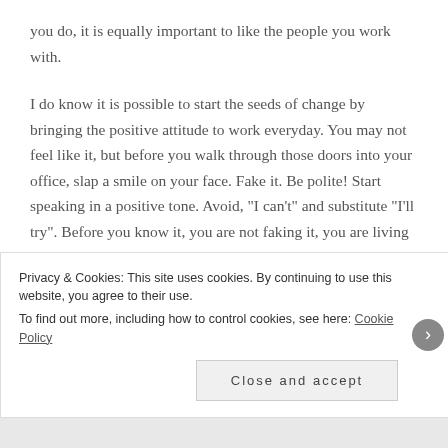you do, it is equally important to like the people you work with.
I do know it is possible to start the seeds of change by bringing the positive attitude to work everyday. You may not feel like it, but before you walk through those doors into your office, slap a smile on your face. Fake it. Be polite! Start speaking in a positive tone. Avoid, "I can't" and substitute "I'll try". Before you know it, you are not faking it, you are living it.
I know this can spill over into your every day life. For
Privacy & Cookies: This site uses cookies. By continuing to use this website, you agree to their use.
To find out more, including how to control cookies, see here: Cookie Policy
Close and accept